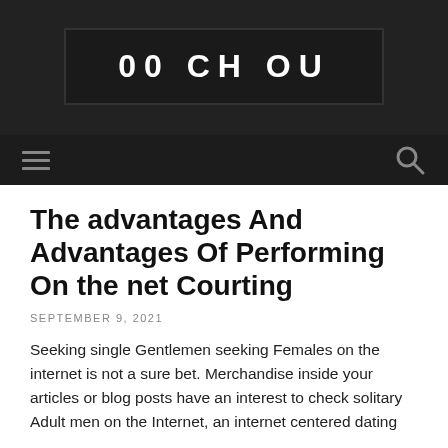00 CH OU
The advantages And Advantages Of Performing On the net Courting
SEPTEMBER 9, 2021
Seeking single Gentlemen seeking Females on the internet is not a sure bet. Merchandise inside your articles or blog posts have an interest to check solitary Adult men on the Internet, an internet centered dating